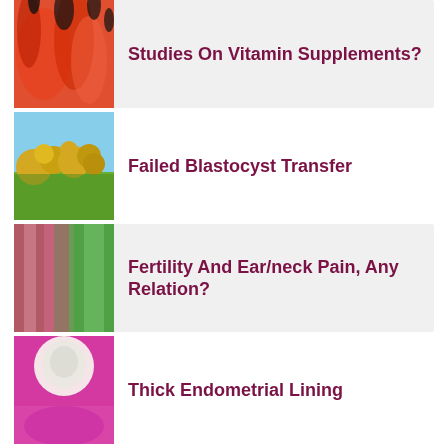[Figure (photo): Red tropical flower with dark tips on petals, close-up botanical photo]
Studies On Vitamin Supplements?
[Figure (photo): Yellow flowering tree against blue sky, viewed from below]
Failed Blastocyst Transfer
[Figure (photo): Pink and green striped tropical leaves, close-up]
Fertility And Ear/neck Pain, Any Relation?
[Figure (photo): Pink flower with white clustered center, close-up botanical photo]
Thick Endometrial Lining
Contact Us | About Us | Site Map | Fertility
Forums
© 2022 SharedJourney.com